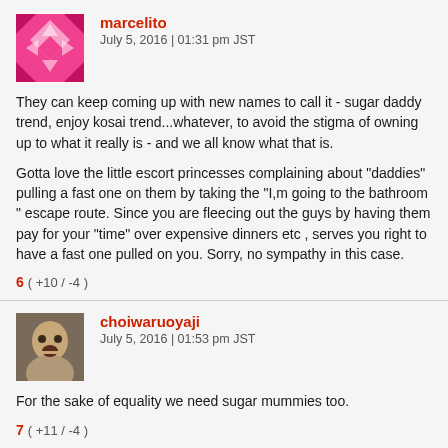[Figure (illustration): Pink avatar icon with diamond/arrow pattern for user marcelito]
marcelito
July 5, 2016 | 01:31 pm JST
They can keep coming up with new names to call it - sugar daddy trend, enjoy kosai trend...whatever, to avoid the stigma of owning up to what it really is - and we all know what that is.
Gotta love the little escort princesses complaining about "daddies" pulling a fast one on them by taking the "I,m going to the bathroom " escape route. Since you are fleecing out the guys by having them pay for your "time" over expensive dinners etc , serves you right to have a fast one pulled on you. Sorry, no sympathy in this case.
6 ( +10 / -4 )
[Figure (photo): Photo avatar of user choiwaruoyaji, man with open mouth]
choiwaruoyaji
July 5, 2016 | 01:53 pm JST
For the sake of equality we need sugar mummies too.
7 ( +11 / -4 )